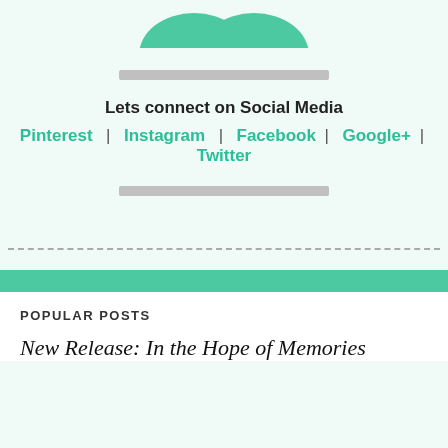[Figure (logo): Teal/mint colored logo shape at top, partially visible, resembling two overlapping arcs or mustache shape]
[redacted bar]
Lets connect on Social Media
Pinterest  |   Instagram  |  Facebook |   Google+ | Twitter
[redacted bar]
POPULAR POSTS
New Release: In the Hope of Memories